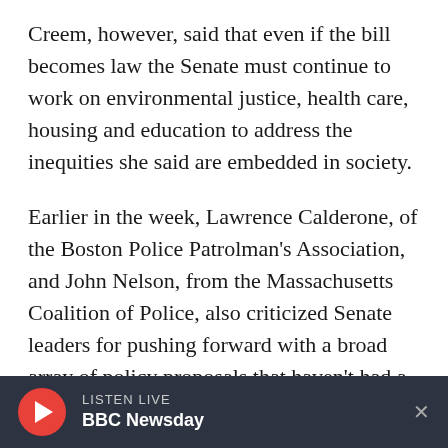Creem, however, said that even if the bill becomes law the Senate must continue to work on environmental justice, health care, housing and education to address the inequities she said are embedded in society.
Earlier in the week, Lawrence Calderone, of the Boston Police Patrolman's Association, and John Nelson, from the Massachusetts Coalition of Police, also criticized Senate leaders for pushing forward with a broad array of policy proposals that haven't had a public hearing.
They...
[Figure (other): BBC audio player bar at bottom: red circular play button, LISTEN LIVE label, BBC Newsday text, and X close button on dark background]